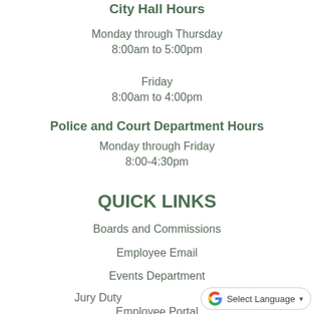City Hall Hours
Monday through Thursday
8:00am to 5:00pm
Friday
8:00am to 4:00pm
Police and Court Department Hours
Monday through Friday
8:00-4:30pm
QUICK LINKS
Boards and Commissions
Employee Email
Events Department
Jury Duty
Employee Portal